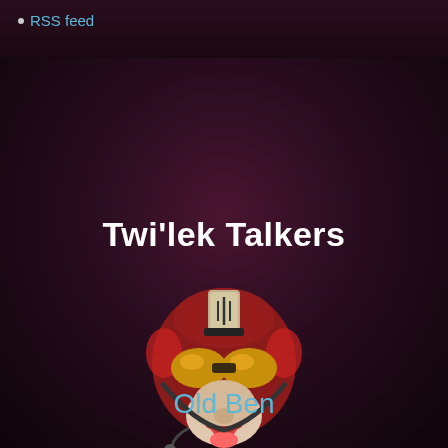RSS feed
Twi'lek Talkers
[Figure (illustration): A cartoonish character wearing a red Star Wars-style pilot helmet with yellow visor goggles and a microphone, making a silly face with tongue out, floating in a starry space background.]
Old Ben